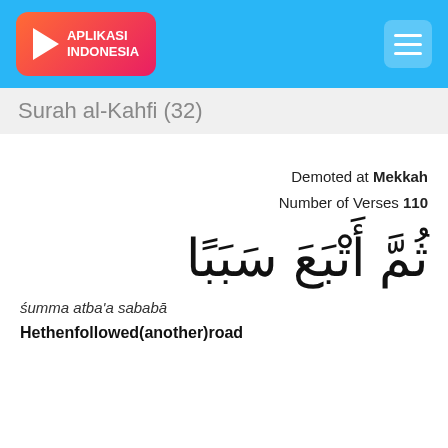[Figure (logo): Aplikasi Indonesia logo with play button icon on red-pink gradient background, set in a blue header bar with hamburger menu on the right]
Surah al-Kahfi (32)
Demoted at Mekkah
Number of Verses 110
ثُمَّ أَتْبَعَ سَبَبًا
śumma atba'a sababā
Hethenfollowed(another)road